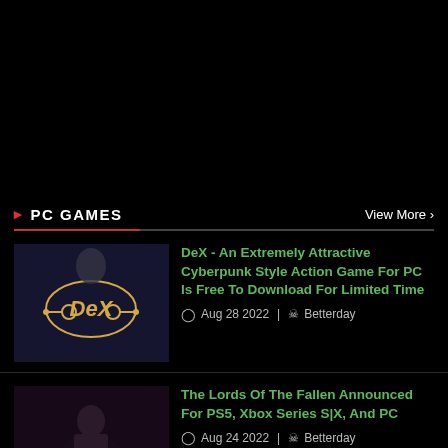[Figure (other): Black top area (advertisement/banner placeholder)]
PC GAMES
View More >
[Figure (photo): DeX game cover art thumbnail showing cyberpunk character]
DeX - An Extremely Attractive Cyberpunk Style Action Game For PC Is Free To Download For Limited Time
Aug 28 2022 | Betterday
[Figure (photo): Lords of the Fallen game cover art thumbnail showing dark fantasy character]
The Lords Of The Fallen Announced For PS5, Xbox Series S|X, And PC
Aug 24 2022 | Betterday